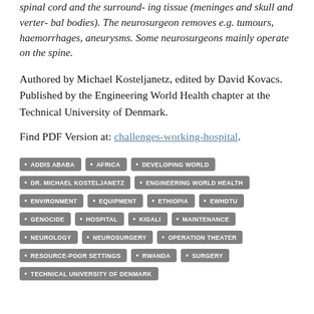spinal cord and the surround- ing tissue (meninges and skull and verter- bal bodies). The neurosurgeon removes e.g. tumours, haemorrhages, aneurysms. Some neurosurgeons mainly operate on the spine.
Authored by Michael Kosteljanetz, edited by David Kovacs. Published by the Engineering World Health chapter at the Technical University of Denmark.
Find PDF Version at: challenges-working-hospital.
ADDIS ABABA
AFRICA
DEVELOPING WORLD
DR. MICHAEL KOSTELJANETZ
ENGINEERING WORLD HEALTH
ENVIRONMENT
EQUIPMENT
ETHIOPIA
EWHDTU
GENOCIDE
HOSPITAL
KIGALI
MAINTENANCE
NEUROLOGY
NEUROSURGERY
OPERATION THEATER
RESOURCE-POOR SETTINGS
RWANDA
SURGERY
TECHNICAL UNIVERSITY OF DENMARK